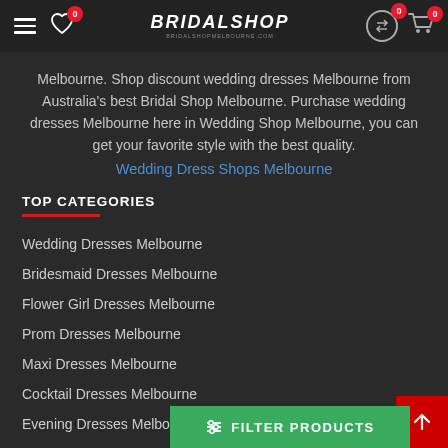BRIDALSHOP navigation header with hamburger menu, wishlist (0), logo, exchange icon (0), and cart (0)
Melbourne. Shop discount wedding dresses Melbourne from Australia's best Bridal Shop Melbourne. Purchase wedding dresses Melbourne here in Wedding Shop Melbourne, you can get your favorite style with the best quality.
Wedding Dress Shops Melbourne
TOP CATEGORIES
Wedding Dresses Melbourne
Bridesmaid Dresses Melbourne
Flower Girl Dresses Melbourne
Prom Dresses Melbourne
Maxi Dresses Melbourne
Cocktail Dresses Melbourne
Evening Dresses Melbourne